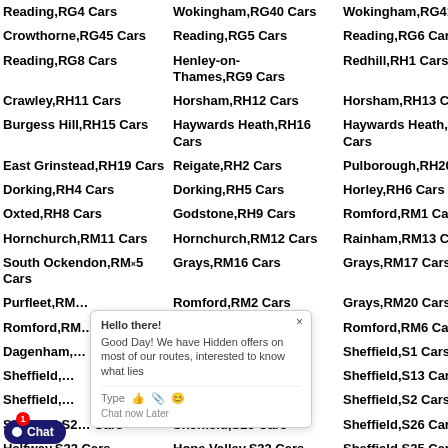| Reading,RG4 Cars | Wokingham,RG40 Cars | Wokingham,RG41 Cars | Br… |
| Crowthorne,RG45 Cars | Reading,RG5 Cars | Reading,RG6 Cars | Re… |
| Reading,RG8 Cars | Henley-on-Thames,RG9 Cars | Redhill,RH1 Cars | Cr… |
| Crawley,RH11 Cars | Horsham,RH12 Cars | Horsham,RH13 Cars | Bi… |
| Burgess Hill,RH15 Cars | Haywards Heath,RH16 Cars | Haywards Heath,RH17 Cars | Fo… |
| East Grinstead,RH19 Cars | Reigate,RH2 Cars | Pulborough,RH20 Cars | Be… |
| Dorking,RH4 Cars | Dorking,RH5 Cars | Horley,RH6 Cars | Li… |
| Oxted,RH8 Cars | Godstone,RH9 Cars | Romford,RM1 Cars | Da… |
| Hornchurch,RM11 Cars | Hornchurch,RM12 Cars | Rainham,RM13 Cars | Up… |
| South Ockendon,RM15 Cars | Grays,RM16 Cars | Grays,RM17 Cars | Ti… |
| Purfleet,RM19 Cars | Romford,RM2 Cars | Grays,RM20 Cars | Ro… |
| Romford,RM3 Cars | Romford,RM5 Cars | Romford,RM6 Cars | Ro… |
| Dagenham,RM8 Cars | Dagenham,RM9 Cars | Sheffield,S1 Cars | Sh… |
| Sheffield,S10 Cars | Sheffield,S12 Cars | Sheffield,S13 Cars | Sh… |
| Sheffield,S17 Cars | Dronfield,S18 Cars | Sheffield,S2 Cars | Sh… |
| Sheffield,S20 Cars | Sheffield,S25 Cars | Sheffield,S26 Cars | Sh… |
| Halfway,S32 Cars | Hope Valley,S33 Cars | Sheffield,S35 Cars | Sh… |
| Sheffield,S4 Cars | Chesterfield,S40 Cars | Chesterfield,S41 Cars | Ch… |